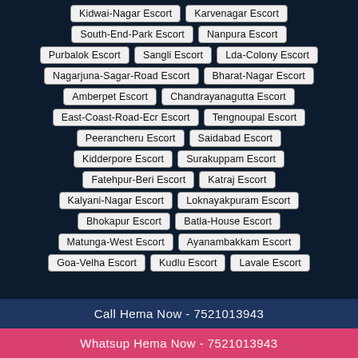Kidwai-Nagar Escort
Karvenagar Escort
South-End-Park Escort
Nanpura Escort
Purbalok Escort
Sangli Escort
Lda-Colony Escort
Nagarjuna-Sagar-Road Escort
Bharat-Nagar Escort
Amberpet Escort
Chandrayanagutta Escort
East-Coast-Road-Ecr Escort
Tengnoupal Escort
Peerancheru Escort
Saidabad Escort
Kidderpore Escort
Surakuppam Escort
Fatehpur-Beri Escort
Katraj Escort
Kalyani-Nagar Escort
Loknayakpuram Escort
Bhokapur Escort
Batla-House Escort
Matunga-West Escort
Ayanambakkam Escort
Goa-Velha Escort
Kudlu Escort
Lavale Escort
Call Hema Now - 7521013943
Whatsup Hema Now - 7521013943